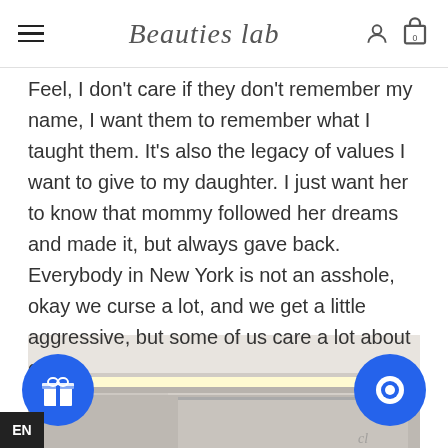Beauties lab — navigation bar with hamburger menu, logo, user icon, and cart (0)
Feel, I don't care if they don't remember my name, I want them to remember what I taught them. It's also the legacy of values I want to give to my daughter. I just want her to know that mommy followed her dreams and made it, but always gave back. Everybody in New York is not an asshole, okay we curse a lot, and we get a little aggressive, but some of us care a lot about others.
[Figure (photo): A kitchen or commercial space ceiling with a fluorescent light fixture, light-colored walls/cabinets visible.]